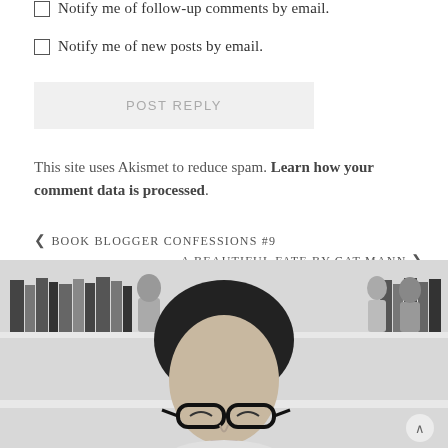Notify me of follow-up comments by email.
Notify me of new posts by email.
POST REPLY
This site uses Akismet to reduce spam. Learn how your comment data is processed.
< BOOK BLOGGER CONFESSIONS #9
A BEAUTIFUL FATE BY CAT MANN >
[Figure (photo): Black and white photo of a person wearing glasses with bookshelves in the background, including Funko Pop figures on the shelves.]